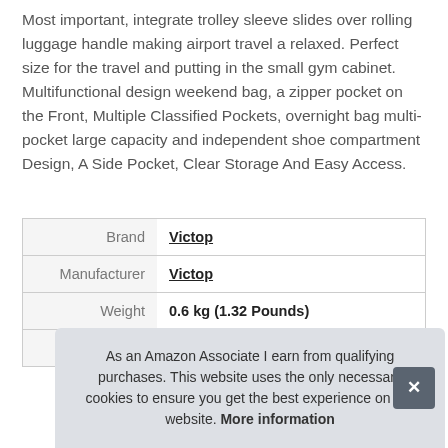Most important, integrate trolley sleeve slides over rolling luggage handle making airport travel a relaxed. Perfect size for the travel and putting in the small gym cabinet. Multifunctional design weekend bag, a zipper pocket on the Front, Multiple Classified Pockets, overnight bag multi-pocket large capacity and independent shoe compartment Design, A Side Pocket, Clear Storage And Easy Access.
|  |  |
| --- | --- |
| Brand | Victop |
| Manufacturer | Victop |
| Weight | 0.6 kg (1.32 Pounds) |
| P |  |
As an Amazon Associate I earn from qualifying purchases. This website uses the only necessary cookies to ensure you get the best experience on our website. More information